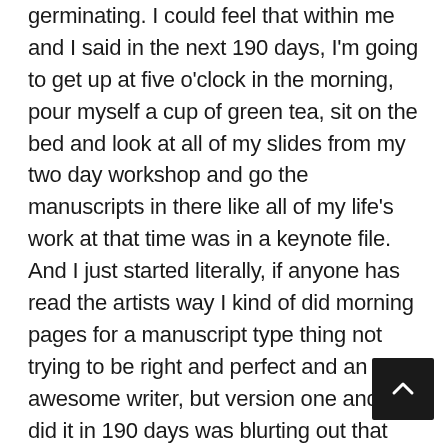germinating. I could feel that within me and I said in the next 190 days, I'm going to get up at five o'clock in the morning, pour myself a cup of green tea, sit on the bed and look at all of my slides from my two day workshop and go the manuscripts in there like all of my life's work at that time was in a keynote file. And I just started literally, if anyone has read the artists way I kind of did morning pages for a manuscript type thing not trying to be right and perfect and an awesome writer, but version one and I did it in 190 days was blurting out that and I felt thrilled I was wrong. If I get hit by a bus tomorrow, there it is kids. It's a dog's breakfast. But there it is. And that was 14 versions ago and the book that you now have in a box, somewhere, but but that is that is now version 14. You know, it's got 140 footnotes in it. Now it's been researched to the hilt as a journalist by profession I really had. I was really quite nervous isn't